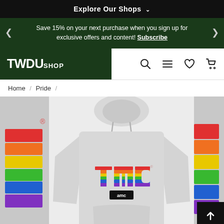Explore Our Shops
Save 15% on your next purchase when you sign up for exclusive offers and content! Subscribe
[Figure (logo): TWDU SHOP logo in white text on dark green background, with navigation icons (search, menu, heart, cart)]
Home / Pride
[Figure (photo): Gray heather hoodie sweatshirt with rainbow-colored TWD logo letters and AMC label below, displayed on white background. Partially visible alternate product images on left and right sides.]